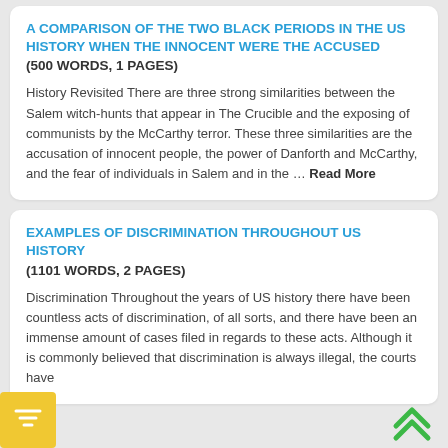A COMPARISON OF THE TWO BLACK PERIODS IN THE US HISTORY WHEN THE INNOCENT WERE THE ACCUSED (500 WORDS, 1 PAGES)
History Revisited There are three strong similarities between the Salem witch-hunts that appear in The Crucible and the exposing of communists by the McCarthy terror. These three similarities are the accusation of innocent people, the power of Danforth and McCarthy, and the fear of individuals in Salem and in the … Read More
EXAMPLES OF DISCRIMINATION THROUGHOUT US HISTORY (1101 WORDS, 2 PAGES)
Discrimination Throughout the years of US history there have been countless acts of discrimination, of all sorts, and there have been an immense amount of cases filed in regards to these acts. Although it is commonly believed that discrimination is always illegal, the courts have